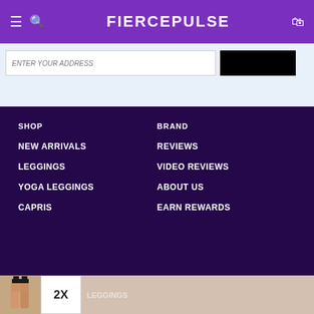FIERCEPULSE
[Figure (screenshot): Search input bar with white box and black rectangle button]
SHOP
NEW ARRIVALS
LEGGINGS
YOGA LEGGINGS
CAPRIS
BRAND
REVIEWS
VIDEO REVIEWS
ABOUT US
EARN REWARDS
YOGA SHORTS
PRODUCT PROCESS
LEGGINGS
BRAND AMBASSADOR
MEGGINGS
BLOG
ADD TO BAG
2X